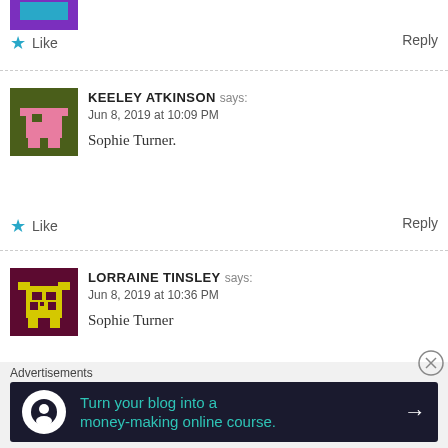[Figure (illustration): Pixel art avatar (partial, top cropped) with cyan/purple colors on purple background]
★ Like
Reply
[Figure (illustration): Pixel art avatar of Keeley Atkinson: pink robot figure on dark olive/green background]
KEELEY ATKINSON says:
Jun 8, 2019 at 10:09 PM

Sophie Turner.
★ Like
Reply
[Figure (illustration): Pixel art avatar of Lorraine Tinsley: yellow robot figure on dark purple background]
LORRAINE TINSLEY says:
Jun 8, 2019 at 10:36 PM

Sophie Turner
Advertisements
[Figure (infographic): Dark banner ad: Turn your blog into a money-making online course. With arrow icon.]